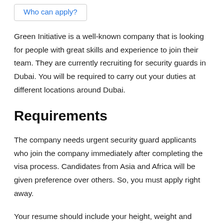Who can apply?
Green Initiative is a well-known company that is looking for people with great skills and experience to join their team. They are currently recruiting for security guards in Dubai. You will be required to carry out your duties at different locations around Dubai.
Requirements
The company needs urgent security guard applicants who join the company immediately after completing the visa process. Candidates from Asia and Africa will be given preference over others. So, you must apply right away.
Your resume should include your height, weight and recent passport size photographs. It should also contain